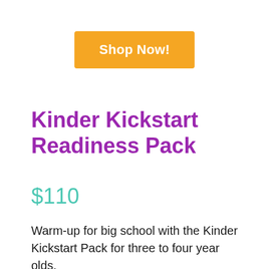Shop Now!
Kinder Kickstart Readiness Pack
$110
Warm-up for big school with the Kinder Kickstart Pack for three to four year olds.